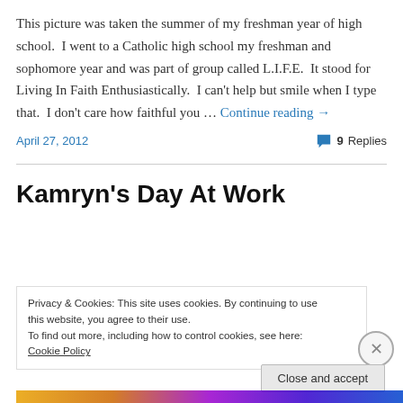This picture was taken the summer of my freshman year of high school.  I went to a Catholic high school my freshman and sophomore year and was part of group called L.I.F.E.  It stood for Living In Faith Enthusiastically.  I can't help but smile when I type that.  I don't care how faithful you … Continue reading →
April 27, 2012    💬 9 Replies
Kamryn's Day At Work
Privacy & Cookies: This site uses cookies. By continuing to use this website, you agree to their use.
To find out more, including how to control cookies, see here: Cookie Policy